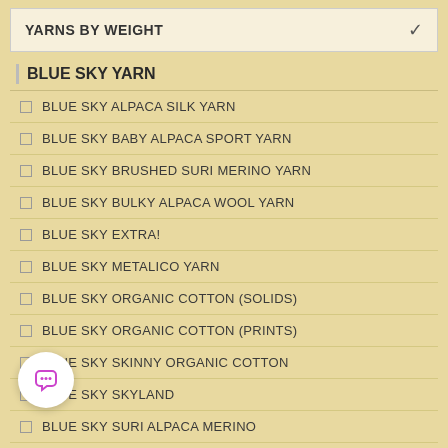YARNS BY WEIGHT
BLUE SKY YARN
BLUE SKY ALPACA SILK YARN
BLUE SKY BABY ALPACA SPORT YARN
BLUE SKY BRUSHED SURI MERINO YARN
BLUE SKY BULKY ALPACA WOOL YARN
BLUE SKY EXTRA!
BLUE SKY METALICO YARN
BLUE SKY ORGANIC COTTON (SOLIDS)
BLUE SKY ORGANIC COTTON (PRINTS)
BLUE SKY SKINNY ORGANIC COTTON
BLUE SKY SKYLAND
BLUE SKY SURI ALPACA MERINO
BLUE SKY SWEATER
BLUE SKY TECHNO YARN
BLUE SKY WOOLSTOK